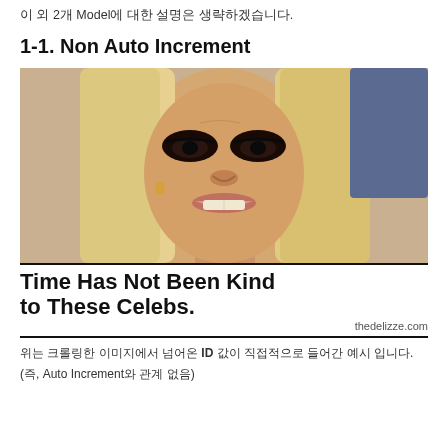이 외 2개 Model에 대한 설명은 생략하겠습니다.
1-1. Non Auto Increment
[Figure (photo): Close-up photo of a blonde woman (celebrity) smiling with heavy eye makeup]
Time Has Not Been Kind to These Celebs.
thedelizze.com
위는 크롤링한 이미지에서 넘어온 ID 값이 직접적으로 들어간 예시 입니다.
(즉, Auto Increment와 관계 없음)